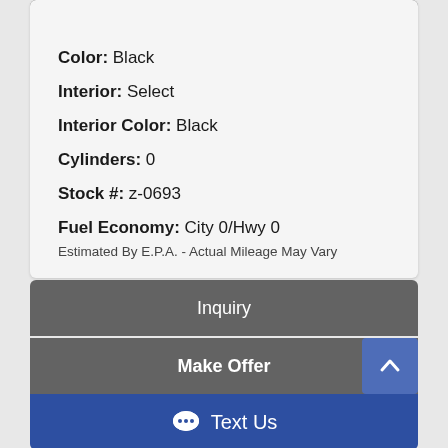Internet $18,295
Color: Black
Interior: Select
Interior Color: Black
Cylinders: 0
Stock #: z-0693
Fuel Economy: City 0/Hwy 0
Estimated By E.P.A. - Actual Mileage May Vary
Inquiry
Make Offer
Text Us